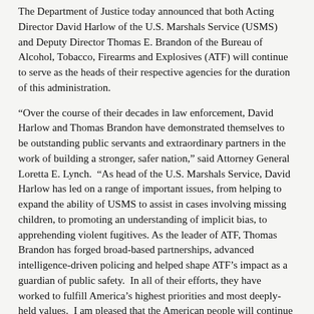The Department of Justice today announced that both Acting Director David Harlow of the U.S. Marshals Service (USMS) and Deputy Director Thomas E. Brandon of the Bureau of Alcohol, Tobacco, Firearms and Explosives (ATF) will continue to serve as the heads of their respective agencies for the duration of this administration.
“Over the course of their decades in law enforcement, David Harlow and Thomas Brandon have demonstrated themselves to be outstanding public servants and extraordinary partners in the work of building a stronger, safer nation,” said Attorney General Loretta E. Lynch.  “As head of the U.S. Marshals Service, David Harlow has led on a range of important issues, from helping to expand the ability of USMS to assist in cases involving missing children, to promoting an understanding of implicit bias, to apprehending violent fugitives. As the leader of ATF, Thomas Brandon has forged broad-based partnerships, advanced intelligence-driven policing and helped shape ATF’s impact as a guardian of public safety.  In all of their efforts, they have worked to fulfill America’s highest priorities and most deeply-held values.  I am pleased that the American people will continue to receive the benefit of their professionalism, integrity and devotion to duty.”
Harlow became Acting Director of the U.S. Marshals on July 26, 2015.  Pursuant to the Vacancies Reform Act, the title of acting director will expire on Feb. 20, 2016, at which time Harlow will continue leading the Marshals as Deputy Director for the duration of this administration.
Brandon became Acting Director of ATF on April 1, 2015.  Pursuant to the